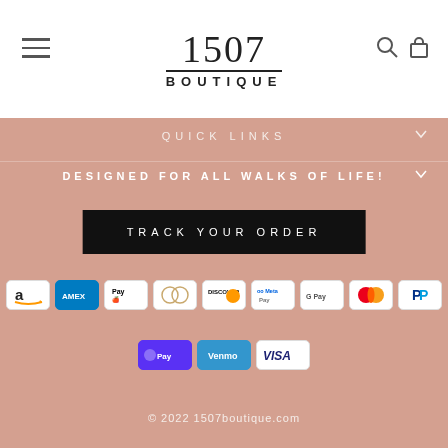1507 BOUTIQUE
QUICK LINKS
DESIGNED FOR ALL WALKS OF LIFE!
TRACK YOUR ORDER
[Figure (other): Payment method icons: Amazon, Amex, Apple Pay, Diners Club, Discover, Meta Pay, Google Pay, Mastercard, PayPal, Shop Pay, Venmo, Visa]
© 2022 1507boutique.com